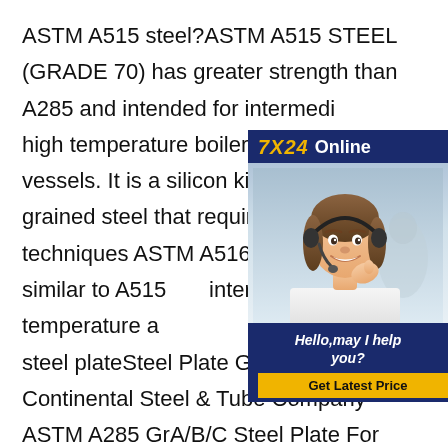ASTM A515 steel?ASTM A515 STEEL (GRADE 70) has greater strength than A285 and intended for intermediate and high temperature boilers and pressure vessels. It is a silicon killed, coarse grained steel that requires careful welding techniques ASTM A516 (GRADE 70) is similar to A515 but intended for lower temperature applications a285 grade c steel plateSteel Plate Grades - Continental Steel & Tube Company ASTM A285 GrA/B/C Steel Plate For Welded Pressure Vessel astm
[Figure (infographic): Advertisement banner with '7X24 Online' header in dark navy background with gold and white text, a photo of a woman with headset smiling, and navy footer with 'Hello, may I help you?' text and a yellow 'Get Latest Price' button.]